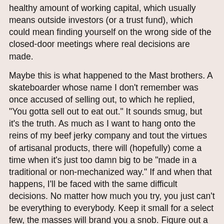healthy amount of working capital, which usually means outside investors (or a trust fund), which could mean finding yourself on the wrong side of the closed-door meetings where real decisions are made.
Maybe this is what happened to the Mast brothers. A skateboarder whose name I don't remember was once accused of selling out, to which he replied, "You gotta sell out to eat out." It sounds smug, but it's the truth. As much as I want to hang onto the reins of my beef jerky company and tout the virtues of artisanal products, there will (hopefully) come a time when it's just too damn big to be "made in a traditional or non-mechanized way." If and when that happens, I'll be faced with the same difficult decisions. No matter how much you try, you just can't be everything to everybody. Keep it small for a select few, the masses will brand you a snob. Figure out a way to get your product in more hands (so you can ultimately enjoy a bit of success), the early adopters will burn you at the stake like a goddamn Salem witch. My incoherent two cents on the matter.